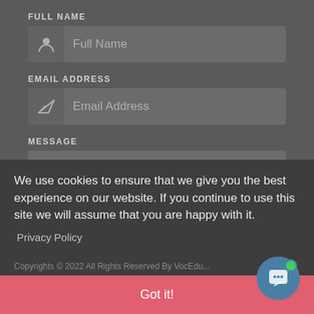FULL NAME
[Figure (screenshot): Full Name input field with person icon]
EMAIL ADDRESS
[Figure (screenshot): Email Address input field with send/arrow icon]
MESSAGE
[Figure (screenshot): Message textarea input field]
Submit
We use cookies to ensure that we give you the best experience on our website. If you continue to use this site we will assume that you are happy with it.
Privacy Policy
Got it!